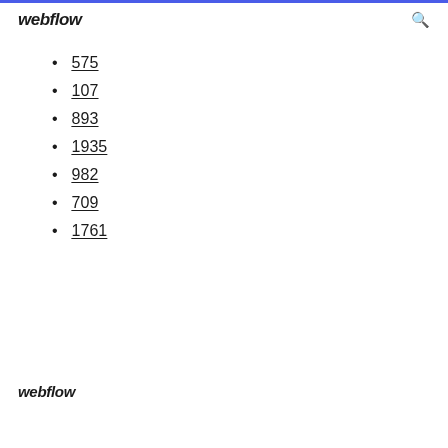webflow
575
107
893
1935
982
709
1761
webflow